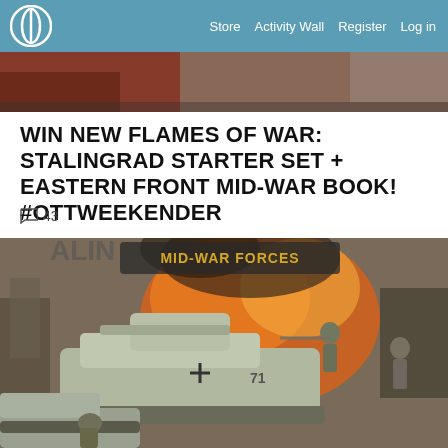Store  Activity Wall  Register  Log in
[Figure (photo): Partial top image strip showing a scene, cropped]
WIN NEW FLAMES OF WAR: STALINGRAD STARTER SET + EASTERN FRONT MID-WAR BOOK! #OTTWEEKENDER
43
[Figure (photo): Flames of War Mid-War Forces book cover showing WWII tanks and soldiers in battle at Stalingrad with fire and smoke in the background. Text 'MID-WAR FORCES' visible at top.]